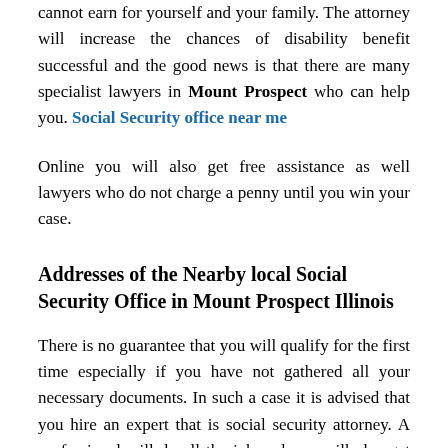cannot earn for yourself and your family. The attorney will increase the chances of disability benefit successful and the good news is that there are many specialist lawyers in Mount Prospect who can help you. Social Security office near me
Online you will also get free assistance as well lawyers who do not charge a penny until you win your case.
Addresses of the Nearby local Social Security Office in Mount Prospect Illinois
There is no guarantee that you will qualify for the first time especially if you have not gathered all your necessary documents. In such a case it is advised that you hire an expert that is social security attorney. A professional will do all the job and you will also get the guidance of an expert. The majority of the social